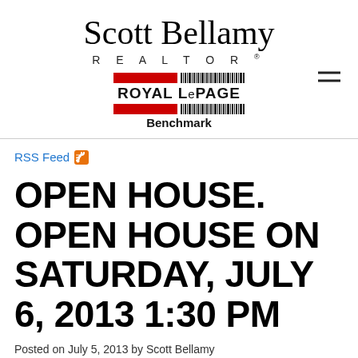[Figure (logo): Scott Bellamy Realtor header logo with Royal LePage Benchmark branding]
RSS Feed
OPEN HOUSE. OPEN HOUSE ON SATURDAY, JULY 6, 2013 1:30 PM
Posted on July 5, 2013 by Scott Bellamy
Posted in: Real Estate News AB, Real Estate News AB, Real...